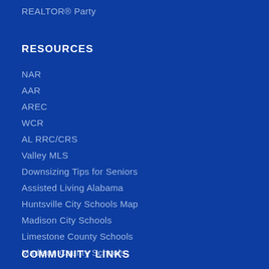REALTOR® Party
RESOURCES
NAR
AAR
AREC
WCR
AL RRC/CRS
Valley MLS
Downsizing Tips for Seniors
Assisted Living Alabama
Huntsville City Schools Map
Madison City Schools
Limestone County Schools
Madison County Schools
COMMUNITY LINKS